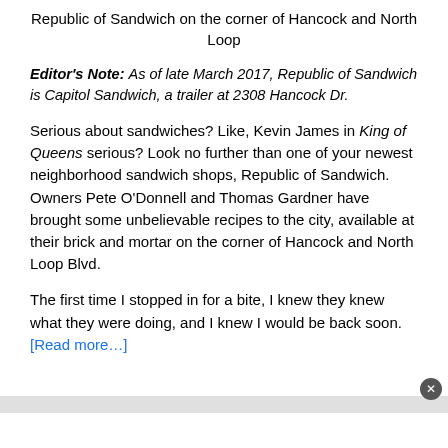Republic of Sandwich on the corner of Hancock and North Loop
Editor's Note: As of late March 2017, Republic of Sandwich is Capitol Sandwich, a trailer at 2308 Hancock Dr.
Serious about sandwiches? Like, Kevin James in King of Queens serious? Look no further than one of your newest neighborhood sandwich shops, Republic of Sandwich. Owners Pete O'Donnell and Thomas Gardner have brought some unbelievable recipes to the city, available at their brick and mortar on the corner of Hancock and North Loop Blvd.
The first time I stopped in for a bite, I knew they knew what they were doing, and I knew I would be back soon. [Read more…]